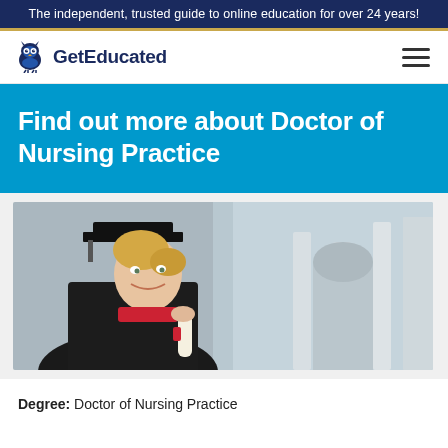The independent, trusted guide to online education for over 24 years!
[Figure (logo): GetEducated logo with owl icon and text 'GetEducated']
Find out more about Doctor of Nursing Practice
[Figure (photo): A woman in graduation cap and gown holding a diploma, smiling, outdoors near a building]
Degree: Doctor of Nursing Practice